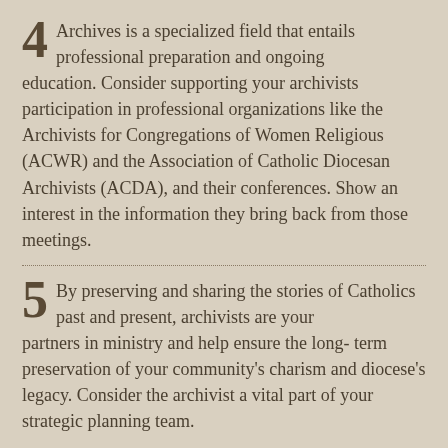4 Archives is a specialized field that entails professional preparation and ongoing education. Consider supporting your archivists participation in professional organizations like the Archivists for Congregations of Women Religious (ACWR) and the Association of Catholic Diocesan Archivists (ACDA), and their conferences. Show an interest in the information they bring back from those meetings.
5 By preserving and sharing the stories of Catholics past and present, archivists are your partners in ministry and help ensure the long- term preservation of your community's charism and diocese's legacy. Consider the archivist a vital part of your strategic planning team.